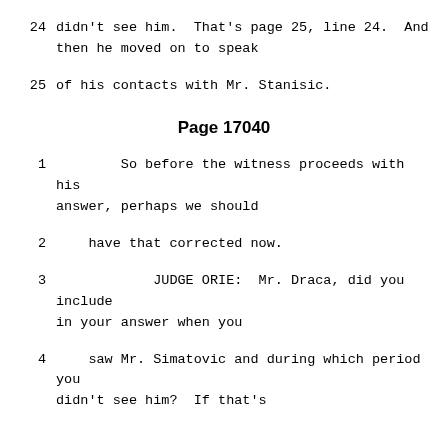24    didn't see him.  That's page 25, line 24.  And then he moved on to speak
25    of his contacts with Mr. Stanisic.
Page 17040
1         So before the witness proceeds with his answer, perhaps we should
2     have that corrected now.
3             JUDGE ORIE:  Mr. Draca, did you include in your answer when you
4     saw Mr. Simatovic and during which period you didn't see him?  If that's